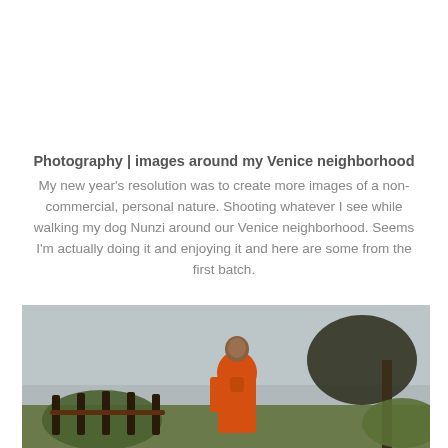Photography | images around my Venice neighborhood
My new year’s resolution was to create more images of a non-commercial, personal nature. Shooting whatever I see while walking my dog Nunzi around our Venice neighborhood. Seems I’m actually doing it and enjoying it and here are some from the first batch.
[Figure (photo): A person wearing an orange monk robe standing outdoors near a fence and trees, with an overcast sky in the background. Venice neighborhood scene.]